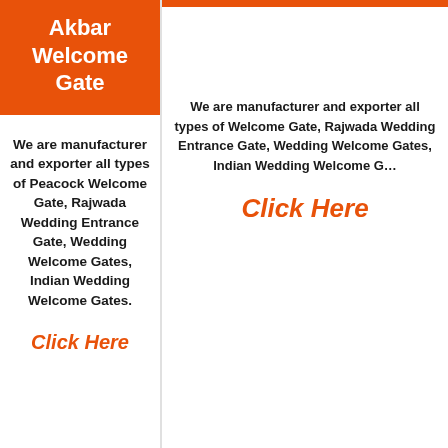Akbar Welcome Gate
We are manufacturer and exporter all types of Peacock Welcome Gate, Rajwada Wedding Entrance Gate, Wedding Welcome Gates, Indian Wedding Welcome Gates.
Click Here
We are manufacturer and exporter all types of Welcome Gate, Rajwada Wedding Entrance Gate, Wedding Welcome Gates, Indian Wedding Welcome Gates.
Click Here